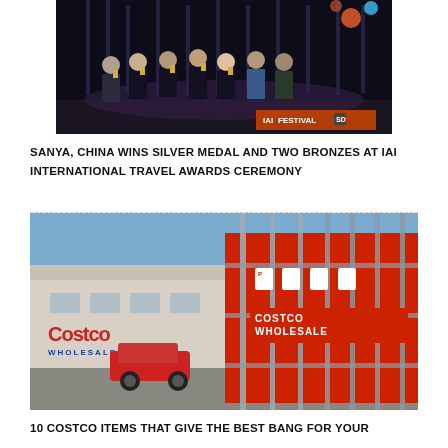[Figure (photo): Group of people standing on a stage holding trophies at the IAI Festival award ceremony, dark background with colorful lights and signage]
SANYA, CHINA WINS SILVER MEDAL AND TWO BRONZES AT IAI INTERNATIONAL TRAVEL AWARDS CEREMONY
[Figure (photo): Exterior view of a Costco Wholesale store with large red shopping cart corrals in the foreground and the Costco logo on the building]
10 COSTCO ITEMS THAT GIVE THE BEST BANG FOR YOUR